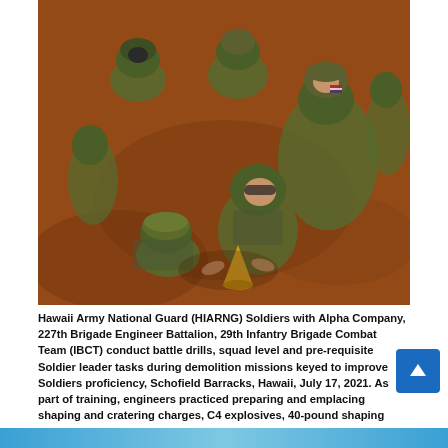[Figure (photo): Aerial/overhead view of Hawaii Army National Guard soldiers in camouflage uniforms gathered around an explosive device on red dirt ground during demolition training at Schofield Barracks. One soldier wears a green helmet. They are working with their hands on what appears to be a yellow cone-shaped charge.]
Hawaii Army National Guard (HIARNG) Soldiers with Alpha Company, 227th Brigade Engineer Battalion, 29th Infantry Brigade Combat Team (IBCT) conduct battle drills, squad level and pre-requisite Soldier leader tasks during demolition missions keyed to improve Soldiers proficiency, Schofield Barracks, Hawaii, July 17, 2021. As part of training, engineers practiced preparing and emplacing shaping and cratering charges, C4 explosives, 40-pound shaping charges and tying C4 explosive charges into a line with detonation cord. (U.S. Army National Guard photo by Sgt. 1st Class Theresa Gualdara